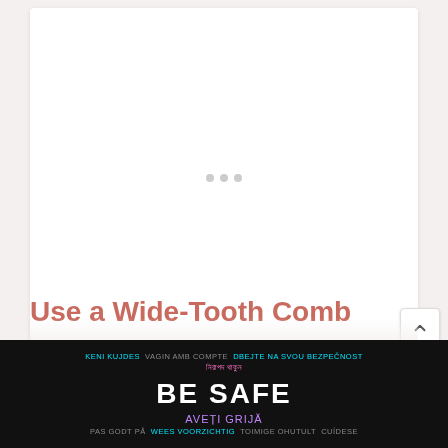[Figure (other): White content card placeholder with loading dots in the center, representing an image loading area]
Use a Wide-Tooth Comb
Regular hair brushes can cause your hair to break. Wide-tooth combs, on the other hand, are much gentle...
[Figure (other): BE SAFE multilingual advertisement banner at the bottom of the page with text in multiple languages including Bengali, Czech, Romanian, and others]